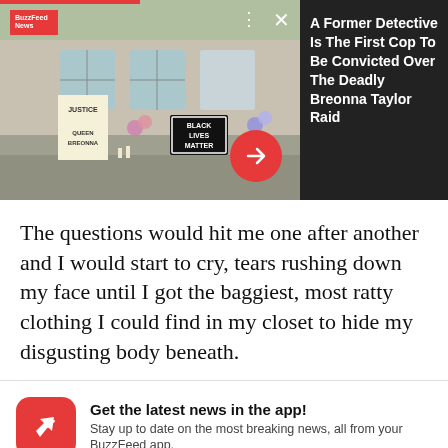[Figure (screenshot): BuzzFeed News article banner showing a photo of a memorial with Black Lives Matter sign, Justice and Queen Breonna signs, flowers, alongside headline about a former detective convicted over the Breonna Taylor raid.]
A Former Detective Is The First Cop To Be Convicted Over The Deadly Breonna Taylor Raid
The questions would hit me one after another and I would start to cry, tears rushing down my face until I got the baggiest, most ratty clothing I could find in my closet to hide my disgusting body beneath.
Get the latest news in the app! Stay up to date on the most breaking news, all from your BuzzFeed app.
Maybe later
Get the app